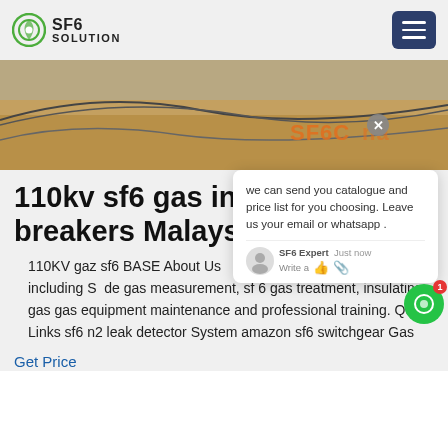SF6 SOLUTION
[Figure (photo): Hero banner image of SF6 gas industrial equipment or landscape, with orange SF6China watermark text overlay]
we can send you catalogue and price list for you choosing. Leave us your email or whatsapp .
110kv sf6 gas in circuit breakers Malaysia
110KV gaz sf6 BASE About Us equipment and service, including SF6 gas measurement, sf 6 gas treatment, insulating gas gas equipment maintenance and professional training. Quick Links sf6 n2 leak detector System amazon sf6 switchgear Gas
Get Price